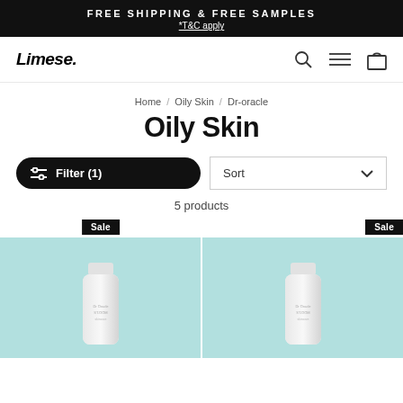FREE SHIPPING & FREE SAMPLES *T&C apply
[Figure (logo): Limese. logo with search, hamburger menu, and shopping bag icons]
Home / Oily Skin / Dr-oracle
Oily Skin
Filter (1)   Sort
5 products
[Figure (photo): Two product cards showing Dr-oracle skincare tubes on light teal/mint background, both with Sale badges]